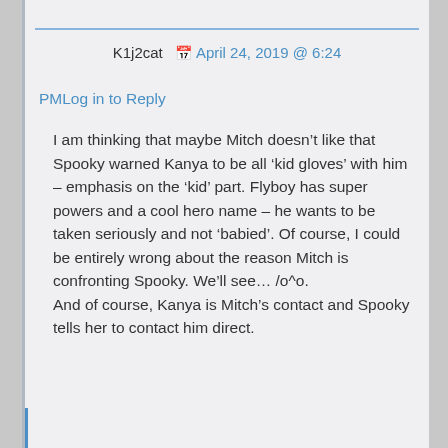K1j2cat  April 24, 2019 @ 6:24
PMLog in to Reply
I am thinking that maybe Mitch doesn’t like that Spooky warned Kanya to be all ‘kid gloves’ with him – emphasis on the ‘kid’ part. Flyboy has super powers and a cool hero name – he wants to be taken seriously and not ‘babied’. Of course, I could be entirely wrong about the reason Mitch is confronting Spooky. We’ll see… /o^o.
And of course, Kanya is Mitch’s contact and Spooky tells her to contact him direct.